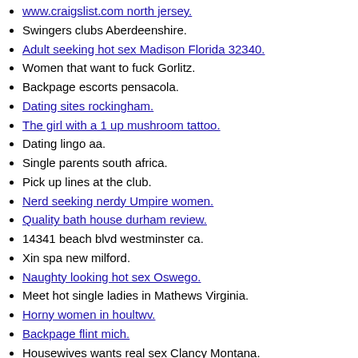www.craigslist.com north jersey. [link]
Swingers clubs Aberdeenshire.
Adult seeking hot sex Madison Florida 32340. [link]
Women that want to fuck Gorlitz.
Backpage escorts pensacola.
Dating sites rockingham. [link]
The girl with a 1 up mushroom tattoo. [link]
Dating lingo aa.
Single parents south africa.
Pick up lines at the club.
Nerd seeking nerdy Umpire women. [link]
Quality bath house durham review. [link]
14341 beach blvd westminster ca.
Xin spa new milford.
Naughty looking hot sex Oswego. [link]
Meet hot single ladies in Mathews Virginia.
Horny women in houltwv. [link]
Backpage flint mich. [link]
Housewives wants real sex Clancy Montana.
Dating sites for tattoo artists. [link]
Meet for Countryside or tea.
God doesnt like me. [link]
Tamilnadu chat online.
Hook up gopro to mac. [link]
Sweet housewives seeking casual sex Mineral Wells.
Nsa Colorado Springs a chat.